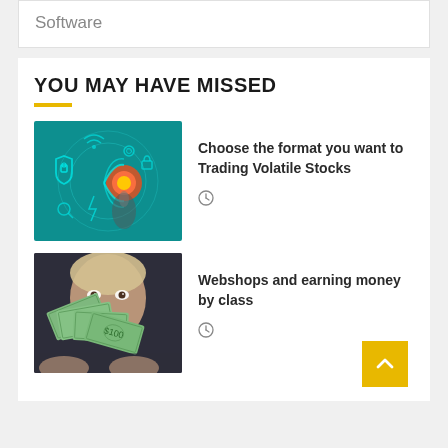Software
YOU MAY HAVE MISSED
[Figure (illustration): Teal digital technology background showing cybersecurity icons, shield, lock, wifi, gears, and a hand pressing a glowing button]
Choose the format you want to Trading Volatile Stocks
[Figure (photo): Person holding up a fan of US dollar bills covering their face, with eyes visible above the bills]
Webshops and earning money by class